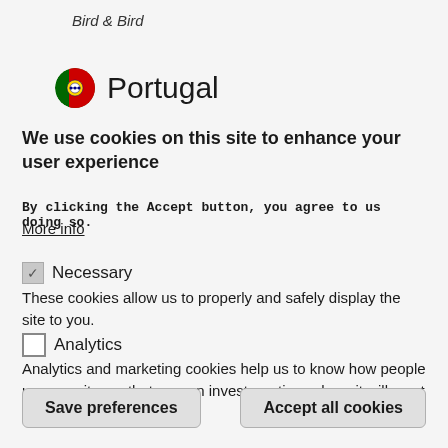Bird & Bird
Portugal
We use cookies on this site to enhance your user experience
By clicking the Accept button, you agree to us doing so.
More info
Necessary — These cookies allow us to properly and safely display the site to you.
Analytics — Analytics and marketing cookies help us to know how people use our site, so that we can invest our time where it will most benefit our users.
Save preferences
Accept all cookies